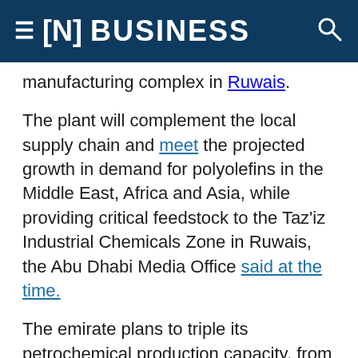≡ [N] BUSINESS
manufacturing complex in Ruwais.
The plant will complement the local supply chain and meet the projected growth in demand for polyolefins in the Middle East, Africa and Asia, while providing critical feedstock to the Taz'iz Industrial Chemicals Zone in Ruwais, the Abu Dhabi Media Office said at the time.
The emirate plans to triple its petrochemical production capacity, from 4.5 million tonnes currently produced entirely by Borouge in Ruwais, by 2025.
Borouge's first polythene unit was